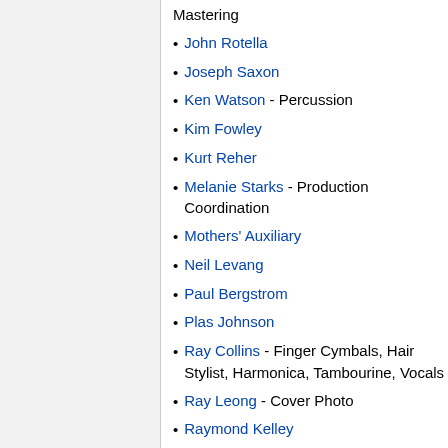Mastering
John Rotella
Joseph Saxon
Ken Watson - Percussion
Kim Fowley
Kurt Reher
Melanie Starks - Production Coordination
Mothers' Auxiliary
Neil Levang
Paul Bergstrom
Plas Johnson
Ray Collins - Finger Cymbals, Hair Stylist, Harmonica, Tambourine, Vocals
Ray Leong - Cover Photo
Raymond Kelley
Roy Caton
Roy Estrada - Bass, Guitarron,